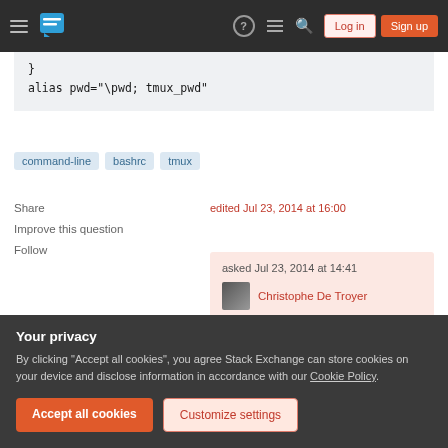Stack Exchange navigation bar with Log in and Sign up buttons
}
alias pwd="\pwd; tmux_pwd"
command-line
bashrc
tmux
Share
Improve this question
Follow
edited Jul 23, 2014 at 16:00
asked Jul 23, 2014 at 14:41
Christophe De Troyer
Your privacy
By clicking "Accept all cookies", you agree Stack Exchange can store cookies on your device and disclose information in accordance with our Cookie Policy.
Accept all cookies
Customize settings